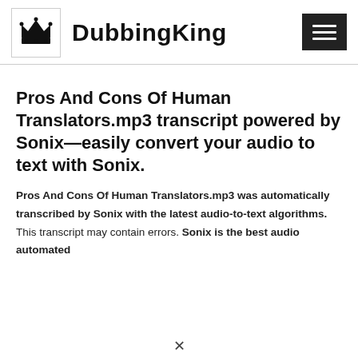DubbingKing
Pros And Cons Of Human Translators.mp3 transcript powered by Sonix—easily convert your audio to text with Sonix.
Pros And Cons Of Human Translators.mp3 was automatically transcribed by Sonix with the latest audio-to-text algorithms. This transcript may contain errors. Sonix is the best audio automated